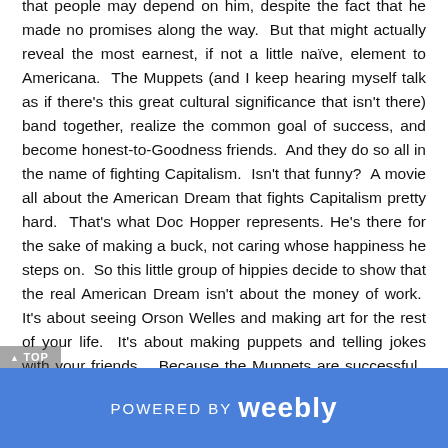that people may depend on him, despite the fact that he made no promises along the way. But that might actually reveal the most earnest, if not a little naïve, element to Americana. The Muppets (and I keep hearing myself talk as if there's this great cultural significance that isn't there) band together, realize the common goal of success, and become honest-to-Goodness friends. And they do so all in the name of fighting Capitalism. Isn't that funny? A movie all about the American Dream that fights Capitalism pretty hard. That's what Doc Hopper represents. He's there for the sake of making a buck, not caring whose happiness he steps on. So this little group of hippies decide to show that the real American Dream isn't about the money of work. It's about seeing Orson Welles and making art for the rest of your life. It's about making puppets and telling jokes with your friends. Because the Muppets are successful. As much as they're a source of revenue for Disney nowadays, it was about telling stories with your buddies. And that's the message of the movie. It's a bunch of hippies sitting
POWERED BY weebly